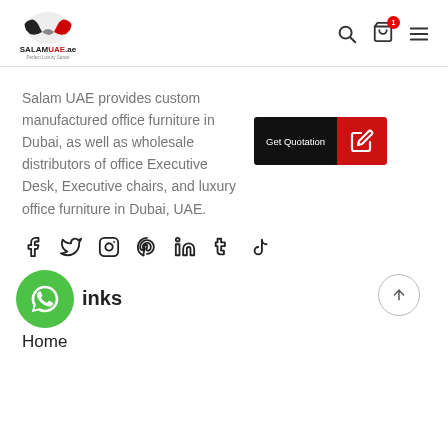[Figure (logo): SALAMUAE.ae logo with handshake image and tagline 'Perfect Luxury Space']
Salam UAE provides custom manufactured office furniture in Dubai, as well as wholesale distributors of office Executive Desk, Executive chairs, and luxury office furniture in Dubai, UAE.
[Figure (other): Get Quotation button with edit icon]
[Figure (other): Social media icons row: Facebook, Twitter, Instagram, Pinterest, LinkedIn, Tumblr, TikTok]
[Figure (other): WhatsApp floating button (green circle)]
inks
Home